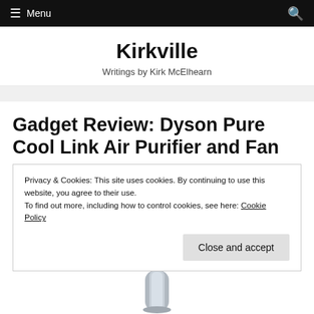☰ Menu 🔍
Kirkville
Writings by Kirk McElhearn
Gadget Review: Dyson Pure Cool Link Air Purifier and Fan
Privacy & Cookies: This site uses cookies. By continuing to use this website, you agree to their use.
To find out more, including how to control cookies, see here: Cookie Policy
[Figure (photo): Bottom portion of a Dyson Pure Cool Link air purifier/fan product, showing the lower tower section in silver/gray]